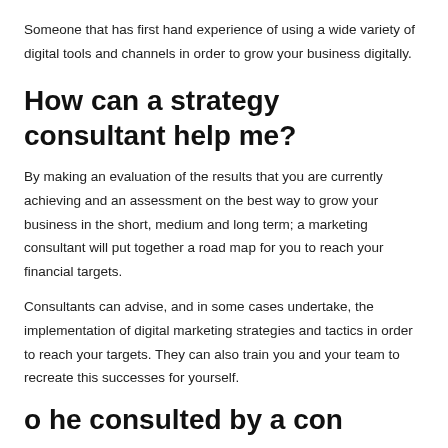Someone that has first hand experience of using a wide variety of digital tools and channels in order to grow your business digitally.
How can a strategy consultant help me?
By making an evaluation of the results that you are currently achieving and an assessment on the best way to grow your business in the short, medium and long term; a marketing consultant will put together a road map for you to reach your financial targets.
Consultants can advise, and in some cases undertake, the implementation of digital marketing strategies and tactics in order to reach your targets. They can also train you and your team to recreate this successes for yourself.